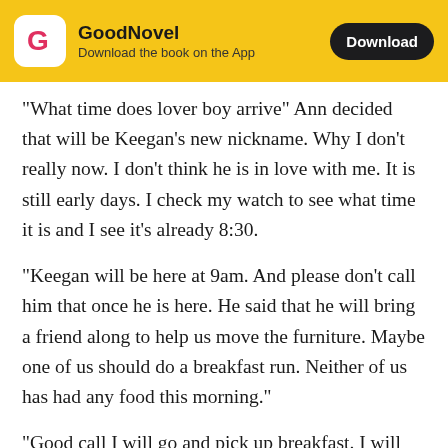GoodNovel — Download the book on the App — Download
"What time does lover boy arrive" Ann decided that will be Keegan's new nickname. Why I don't really now. I don't think he is in love with me. It is still early days. I check my watch to see what time it is and I see it's already 8:30.
"Keegan will be here at 9am. And please don't call him that once he is here. He said that he will bring a friend along to help us move the furniture. Maybe one of us should do a breakfast run. Neither of us has had any food this morning."
"Good call I will go and pick up breakfast. I will get